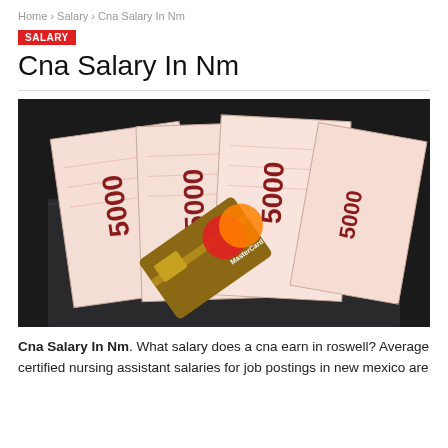Home > Salary > Cna Salary In Nm
SALARY
Cna Salary In Nm
[Figure (photo): Photo of Russian 5000 ruble banknotes and a Mastercard credit card tucked in a dark jeans pocket.]
Cna Salary In Nm. What salary does a cna earn in roswell? Average certified nursing assistant salaries for job postings in new mexico are